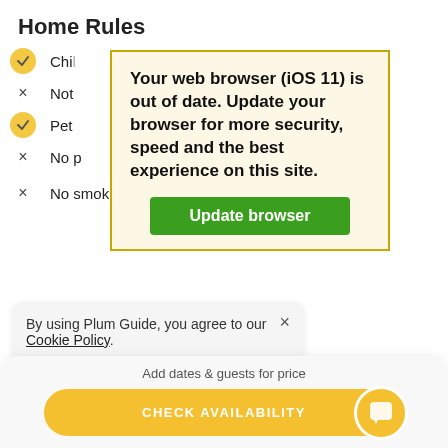Home Rules
Chil[dren allowed]
Not[…]
Pet[s allowed]
No p[…]
[Figure (screenshot): Browser update warning overlay with text: 'Your web browser (iOS 11) is out of date. Update your browser for more security, speed and the best experience on this site.' and a green 'Update browser' button.]
No smoking
By using Plum Guide, you agree to our Cookie Policy.
Add dates & guests for price
CHECK AVAILABILITY